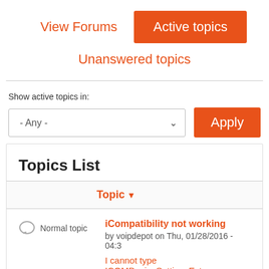View Forums
Active topics
Unanswered topics
Show active topics in:
- Any -
Apply
Topics List
Topic
Normal topic
iCompatibility not working
by voipdepot on Thu, 01/28/2016 - 04:3